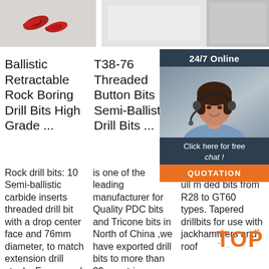[Figure (photo): Three product image thumbnails at top: red drill bits on white background (left), white/blank center image, and partial product image on right]
Ballistic Retractable Rock Boring Drill Bits High Grade ...
Rock drill bits: 10 Semi-ballistic carbide inserts threaded drill bit with a drop center face and 76mm diameter, to match extension drill steels. For more d
T38-76 Threaded Button Bits | Semi-Ballistic Drill Bits ...
is one of the leading manufacturer for Quality PDC bits and Tricone bits in North of China ,we have exported drill bits to more than 30 countries . sales@
Ballistic Type Po... Dia... Bit...
Drill n su ang The ull m ded bits from R28 to GT60 types. Tapered drillbits for use with jackhammers and roof
[Figure (other): 24/7 Online customer service widget overlay showing a woman with headset, 'Click here for free chat!' text, and QUOTATION button in orange]
[Figure (logo): TOP watermark logo in orange at bottom right]